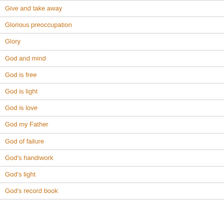Give and take away
Glorious preoccupation
Glory
God and mind
God is free
God is light
God is love
God my Father
God of failure
God's handiwork
God's light
God's record book